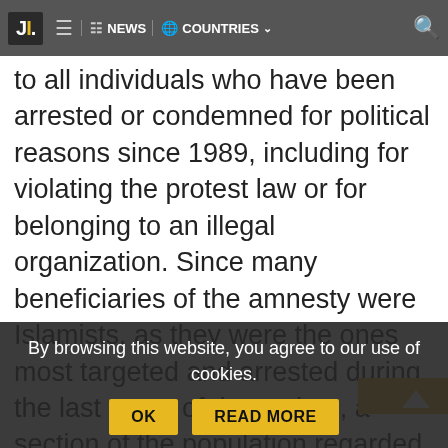JI. NEWS COUNTRIES
to all individuals who have been arrested or condemned for political reasons since 1989, including for violating the protest law or for belonging to an illegal organization. Since many beneficiaries of the amnesty were Islamists, as they were the ones most targeted and arrested during the last years of the regime, a section of the population regarded the reparations with suspicion, perceiving them as a way for the ruling Islamist party to reward their troops, rather than as a legal acknowledgement for victims of gross human rights violations. Another decree-law on reparations, however, adopted in October 20
gran By browsing this website, you agree to set of our use of cookies. but was limited to persons that have been
By browsing this website, you agree to our use of cookies.
OK
READ MORE